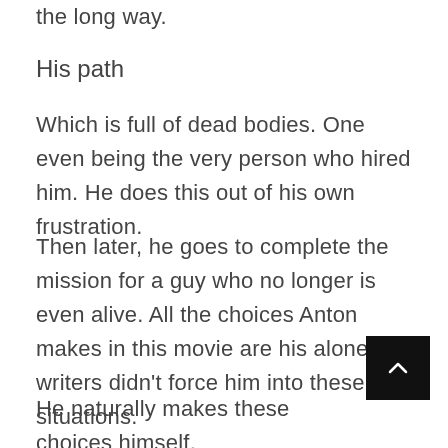the long way.
His path
Which is full of dead bodies. One even being the very person who hired him. He does this out of his own frustration.
Then later, he goes to complete the mission for a guy who no longer is even alive. All the choices Anton makes in this movie are his alone the writers didn't force him into these situations.
He naturally makes these choices himself.
He naturally makes these choices himself.